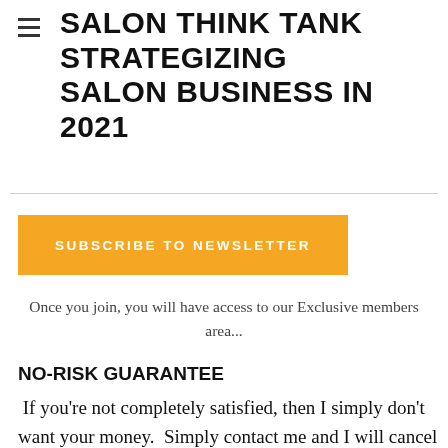SALON THINK TANK STRATEGIZING SALON BUSINESS IN 2021
SUBSCRIBE TO NEWSLETTER
Once you join, you will have access to our Exclusive members area...
NO-RISK GUARANTEE
If you're not completely satisfied, then I simply don't want your money.  Simply contact me and I will cancel your subscription and/or